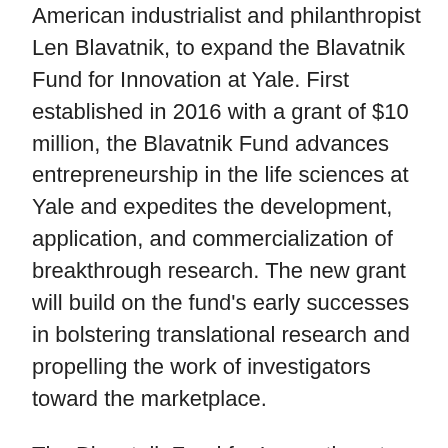American industrialist and philanthropist Len Blavatnik, to expand the Blavatnik Fund for Innovation at Yale. First established in 2016 with a grant of $10 million, the Blavatnik Fund advances entrepreneurship in the life sciences at Yale and expedites the development, application, and commercialization of breakthrough research. The new grant will build on the fund's early successes in bolstering translational research and propelling the work of investigators toward the marketplace.
The Blavatnik Fund for Innovation at Yale helps to accelerate the development of important early-stage discoveries in the life sciences into medical or commercial applications. The fund provides strategic resources to departments university-wide